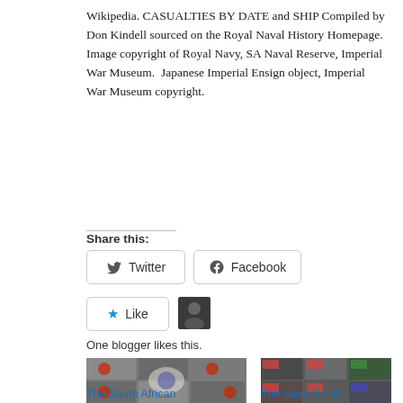Wikipedia. CASUALTIES BY DATE and SHIP Compiled by Don Kindell sourced on the Royal Naval History Homepage.  Image copyright of Royal Navy, SA Naval Reserve, Imperial War Museum.  Japanese Imperial Ensign object, Imperial War Museum copyright.
Share this:
[Figure (other): Twitter share button]
[Figure (other): Facebook share button]
[Figure (other): Like button with blogger avatar]
One blogger likes this.
[Figure (photo): The South African Navy's elephant image collage with warships and red circle markings]
[Figure (photo): The silent South Africans image collage with submarine photos and naval flags]
The South African Navy's elephant in
The silent South Africans in the silent